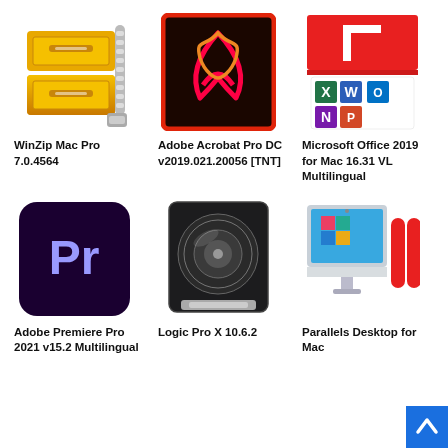[Figure (screenshot): WinZip Mac Pro application icon - yellow filing cabinet with silver zipper]
WinZip Mac Pro 7.0.4564
[Figure (screenshot): Adobe Acrobat Pro DC application icon - red/dark background with white Acrobat logo]
Adobe Acrobat Pro DC v2019.021.20056 [TNT]
[Figure (screenshot): Microsoft Office 2019 for Mac icon showing Office apps including Word, Excel, PowerPoint]
Microsoft Office 2019 for Mac 16.31 VL Multilingual
[Figure (screenshot): Adobe Premiere Pro 2021 icon - dark blue/purple background with Pr text]
Adobe Premiere Pro 2021 v15.2 Multilingual
[Figure (screenshot): Logic Pro X 10.6.2 icon - dark disc/vinyl record on dark background]
Logic Pro X 10.6.2
[Figure (screenshot): Parallels Desktop for Mac icon - red parallel bars next to iMac showing Windows]
Parallels Desktop for Mac